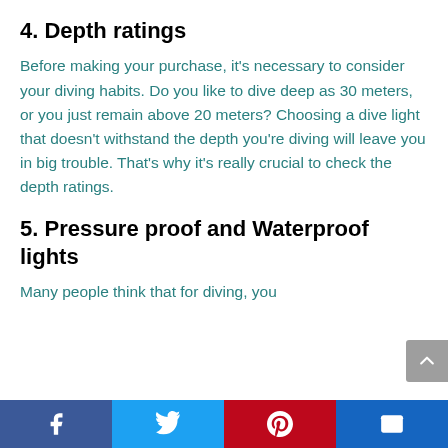4. Depth ratings
Before making your purchase, it’s necessary to consider your diving habits. Do you like to dive deep as 30 meters, or you just remain above 20 meters? Choosing a dive light that doesn’t withstand the depth you’re diving will leave you in big trouble. That’s why it’s really crucial to check the depth ratings.
5. Pressure proof and Waterproof lights
Many people think that for diving, you
Facebook | Twitter | Pinterest | Email